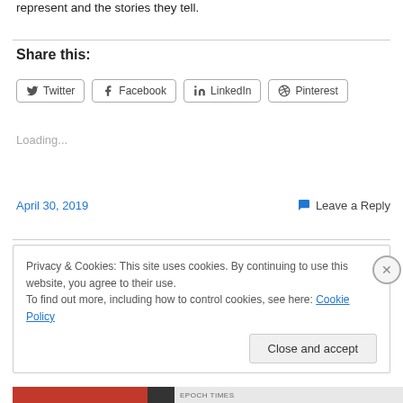represent and the stories they tell.
Share this:
Twitter  Facebook  LinkedIn  Pinterest
Loading...
April 30, 2019
Leave a Reply
Privacy & Cookies: This site uses cookies. By continuing to use this website, you agree to their use.
To find out more, including how to control cookies, see here: Cookie Policy
Close and accept